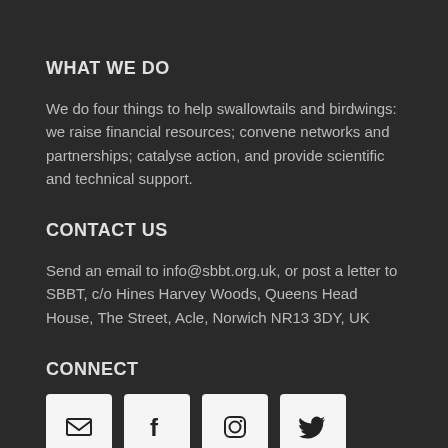WHAT WE DO
We do four things to help swallowtails and birdwings: we raise financial resources; convene networks and partnerships; catalyse action, and provide scientific and technical support.
CONTACT US
Send an email to info@sbbt.org.uk, or post a letter to SBBT, c/o Hines Harvey Woods, Queens Head House, The Street, Acle, Norwich NR13 3DY, UK
CONNECT
[Figure (infographic): Four social media icon buttons: email/envelope, Facebook, Instagram, Twitter]